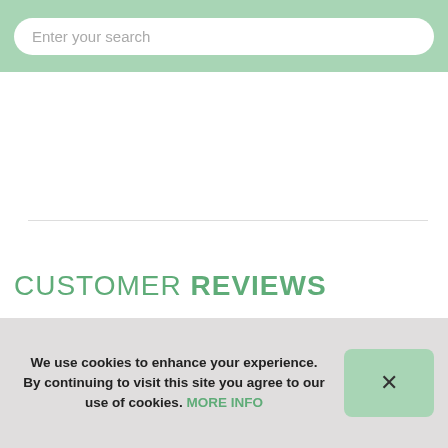Enter your search
CUSTOMER REVIEWS
Average Rating
[Figure (other): Five empty/unfilled star rating icons representing average rating]
We use cookies to enhance your experience. By continuing to visit this site you agree to our use of cookies. MORE INFO